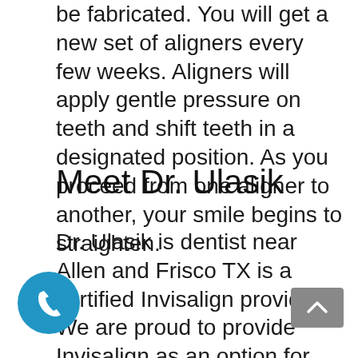be fabricated. You will get a new set of aligners every few weeks. Aligners will apply gentle pressure on teeth and shift teeth in a designated position. As you proceed from one aligner to another, your smile begins to straighten.
Meet Dr. Ulasik
Dr. Ulasik is dentist near Allen and Frisco TX is a certified Invisalign provider. We are proud to provide Invisalign as an option for patients who want to have a straighter smile. If you would like more information about Invisalign, contact Independence Dental to schedule a complimentary orthodontic consultation.